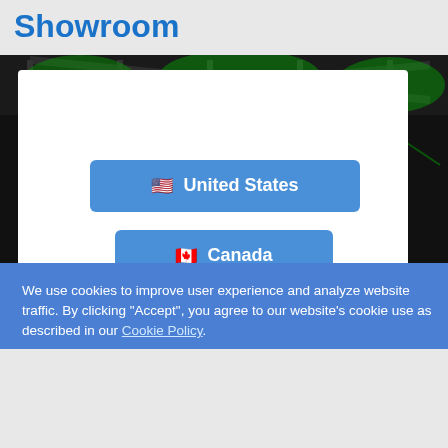Showroom
[Figure (screenshot): Screenshot of a website showing country selection buttons (United States and Canada) overlaid with a cookie consent banner and a feedback widget asking 'How easy is it to use our website?' with a Reply button.]
We use cookies to improve user experience and analyze website traffic. By clicking "Accept", you agree to our website's cookie use as described in our Cookie Policy.
How easy is it to use our website?
Reply